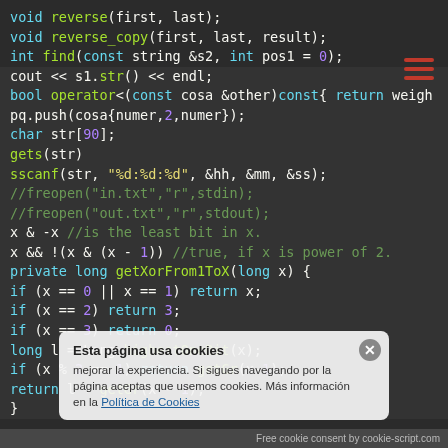[Figure (screenshot): Code editor screenshot showing C++/Java code snippets with syntax highlighting on dark background, including function declarations, operator overloading, bit manipulation, and a getXorFrom1ToX method. A cookie consent banner overlays the bottom portion.]